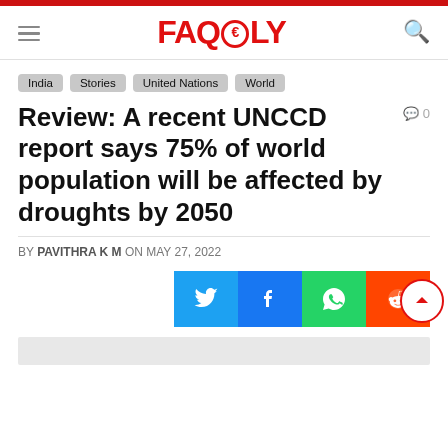FACTLY
India
Stories
United Nations
World
Review: A recent UNCCD report says 75% of world population will be affected by droughts by 2050
BY PAVITHRA K M ON MAY 27, 2022
[Figure (infographic): Social share buttons for Twitter, Facebook, WhatsApp, and Reddit]